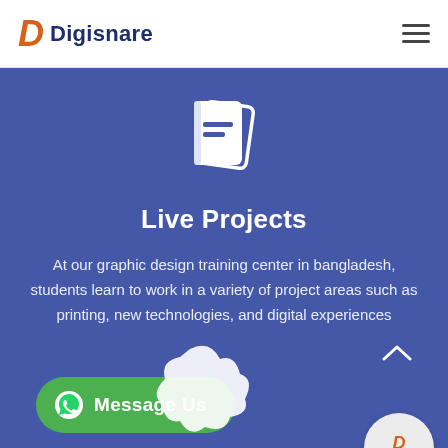Digisnare
[Figure (logo): Book/notebook icon in white on blue background]
Live Projects
At our graphic design training center in bangladesh, students learn to work in a variety of project areas such as printing, new technologies, and digital experiences
[Figure (illustration): Green Message Us button with WhatsApp icon, decorative white splash shape, and Digisnare circular badge with green dot]